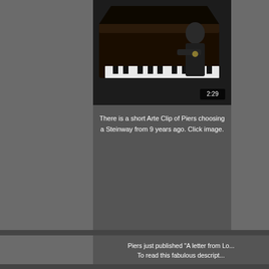[Figure (photo): Video thumbnail showing a person at a piano/Steinway, with a duration badge showing 2:29]
There is a short Arte Clip of Piers choosing a Steinway from 9 years ago. Click image.
[Figure (screenshot): Screenshot of a webpage titled 'A Letter from London | By Pie...' showing three smiling people in formal attire]
Piers just published "A letter from Lo... To read this fabulous descript...
A Letter from London | By Pie...